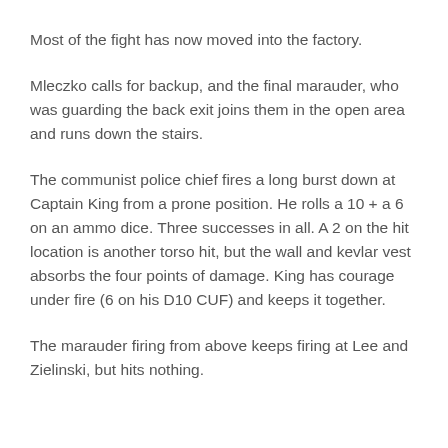Most of the fight has now moved into the factory.
Mleczko calls for backup, and the final marauder, who was guarding the back exit joins them in the open area and runs down the stairs.
The communist police chief fires a long burst down at Captain King from a prone position. He rolls a 10 + a 6 on an ammo dice. Three successes in all. A 2 on the hit location is another torso hit, but the wall and kevlar vest absorbs the four points of damage. King has courage under fire (6 on his D10 CUF) and keeps it together.
The marauder firing from above keeps firing at Lee and Zielinski, but hits nothing.